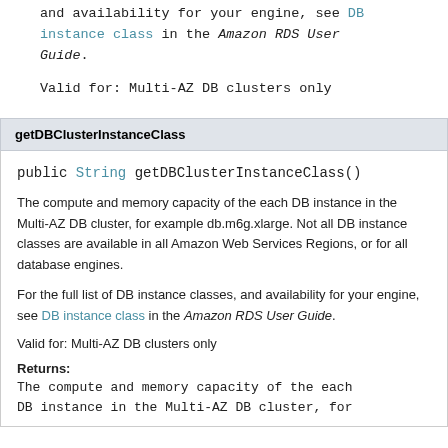and availability for your engine, see DB instance class in the Amazon RDS User Guide.

Valid for: Multi-AZ DB clusters only
getDBClusterInstanceClass
public String getDBClusterInstanceClass()
The compute and memory capacity of the each DB instance in the Multi-AZ DB cluster, for example db.m6g.xlarge. Not all DB instance classes are available in all Amazon Web Services Regions, or for all database engines.
For the full list of DB instance classes, and availability for your engine, see DB instance class in the Amazon RDS User Guide.
Valid for: Multi-AZ DB clusters only
Returns:
The compute and memory capacity of the each DB instance in the Multi-AZ DB cluster, for